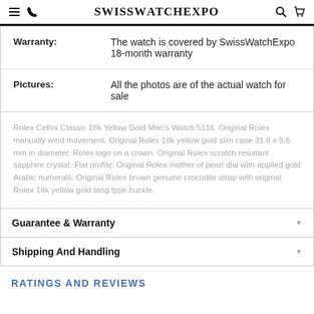SwissWatchExpo
| Field | Value |
| --- | --- |
| Warranty: | The watch is covered by SwissWatchExpo 18-month warranty |
| Pictures: | All the photos are of the actual watch for sale |
Rolex Cellini Classic 18k Yellow Gold Men’s Watch 5116. Original Rolex manually wind movement. Original Rolex 18k yellow gold slim case 31.8 x 5.5 mm in diameter. Rolex logo on a crown. Original Rolex scratch resistant sapphire crystal. Flat profile. Original Rolex mother of pearl dial with applied gold Arabic numerals. Original Rolex brown genuine crocodile strap with original Rolex 18k yellow gold tang type buckle.
Guarantee & Warranty
Shipping And Handling
RATINGS AND REVIEWS